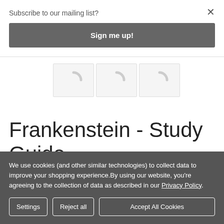Subscribe to our mailing list?
Sign me up!
[Figure (illustration): Three book cover placeholders shown as light grey rectangles with loading circle icons]
Frankenstein - Study Guide
We use cookies (and other similar technologies) to collect data to improve your shopping experience.By using our website, you're agreeing to the collection of data as described in our Privacy Policy.
Settings | Reject all | Accept All Cookies